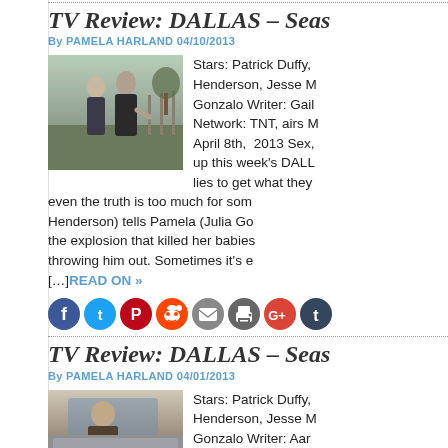TV Review: DALLAS – Seas...
By PAMELA HARLAND 04/10/2013
[Figure (photo): Two people talking outdoors near a fence, one appears to be gesturing]
Stars: Patrick Duffy, Henderson, Jesse M... Gonzalo Writer: Gail Network: TNT, airs M... April 8th, 2013 Sex, up this week's DALL lies to get what they even the truth is too much for som... Henderson) tells Pamela (Julia Go... the explosion that killed her babies throwing him out. Sometimes it's e… [...]READ ON »
[Figure (infographic): Social sharing icons: Facebook, Twitter, Pinterest, Reddit, Email, Print, Google+, Tumblr]
TV Review: DALLAS – Seas...
By PAMELA HARLAND 04/01/2013
[Figure (photo): Person in a car, photographed through or near vehicle window]
Stars: Patrick Duffy, Henderson, Jesse M... Gonzalo Writer: Aar...